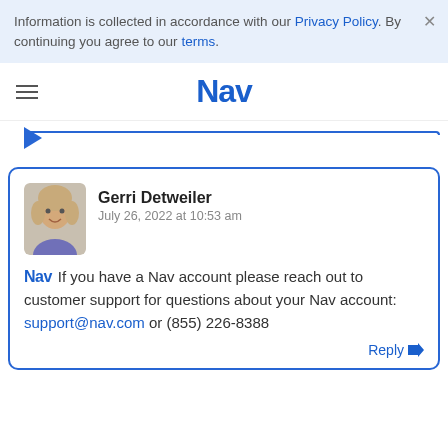Information is collected in accordance with our Privacy Policy. By continuing you agree to our terms.
[Figure (screenshot): Nav website navigation bar with hamburger menu icon and Nav logo]
[Figure (screenshot): Comment card by Gerri Detweiler dated July 26, 2022 at 10:53 am. Nav logo inline. Text: If you have a Nav account please reach out to customer support for questions about your Nav account: support@nav.com or (855) 226-8388. Reply button at bottom right.]